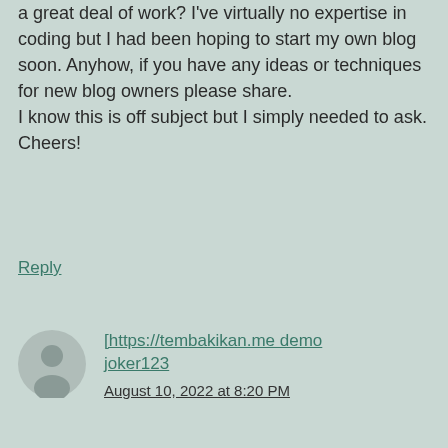a great deal of work? I've virtually no expertise in coding but I had been hoping to start my own blog soon. Anyhow, if you have any ideas or techniques for new blog owners please share. I know this is off subject but I simply needed to ask. Cheers!
Reply
[https://tembakikan.me demo joker123
August 10, 2022 at 8:20 PM